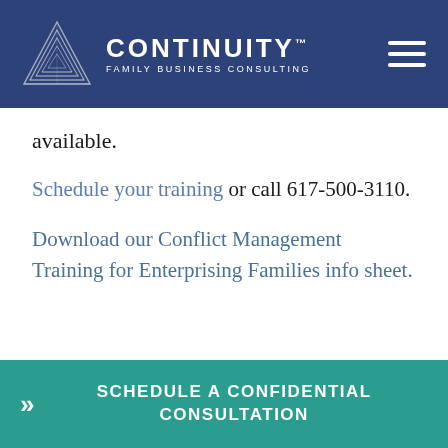[Figure (logo): Continuity Family Business Consulting logo with geometric triangle icon and white text on dark blue background]
available.
Schedule your training or call 617-500-3110.
Download our Conflict Management Training for Enterprising Families info sheet.
>> SCHEDULE A CONFIDENTIAL CONSULTATION